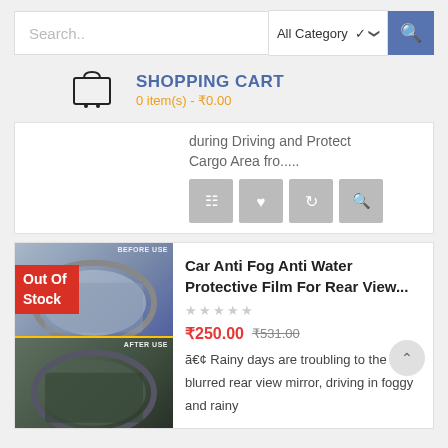Search.. | All Category | [search button]
SHOPPING CART
0 item(s) - ₹0.00
during Driving and Protect
Cargo Area fro.....
[Figure (screenshot): Four action icon buttons: cart, heart, refresh, zoom]
[Figure (photo): Car rear view mirror before and after anti-fog film use, with Out Of Stock badge]
Car Anti Fog Anti Water Protective Film For Rear View...
☆☆☆☆☆
₹250.00  ₹531.00
• Rainy days are troubling to the blurred rear view mirror, driving in foggy and rainy